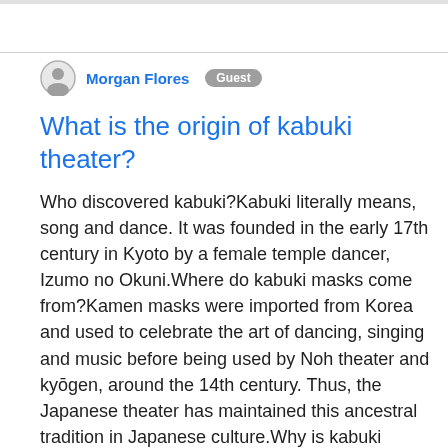Morgan Flores  Guest
What is the origin of kabuki theater?
Who discovered kabuki?Kabuki literally means, song and dance. It was founded in the early 17th century in Kyoto by a female temple dancer, Izumo no Okuni.Where do kabuki masks come from?Kamen masks were imported from Korea and used to celebrate the art of dancing, singing and music before being used by Noh theater and kyōgen, around the 14th century. Thus, the Japanese theater has maintained this ancestral tradition in Japanese culture.Why is kabuki theatre important?Not only did kabuki provide entertainment and great performances, but it was also a source of